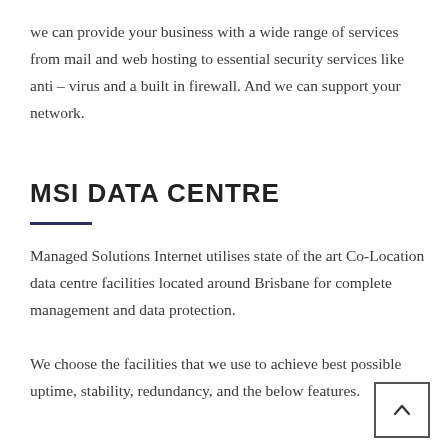we can provide your business with a wide range of services from mail and web hosting to essential security services like anti – virus and a built in firewall. And we can support your network.
MSI DATA CENTRE
Managed Solutions Internet utilises state of the art Co-Location data centre facilities located around Brisbane for complete management and data protection.
We choose the facilities that we use to achieve best possible uptime, stability, redundancy, and the below features.